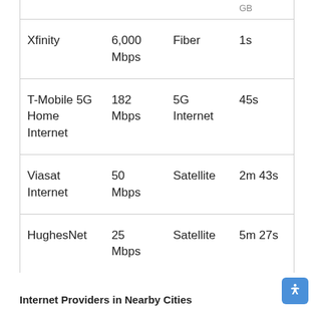|  |  |  | GB |
| --- | --- | --- | --- |
| Xfinity | 6,000 Mbps | Fiber | 1s |
| T-Mobile 5G Home Internet | 182 Mbps | 5G Internet | 45s |
| Viasat Internet | 50 Mbps | Satellite | 2m 43s |
| HughesNet | 25 Mbps | Satellite | 5m 27s |
Internet Providers in Nearby Cities